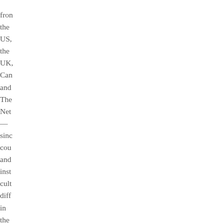from the US, the UK, Canada and The Netherlands — since countries and institutional cultures differ in the forms and information support par